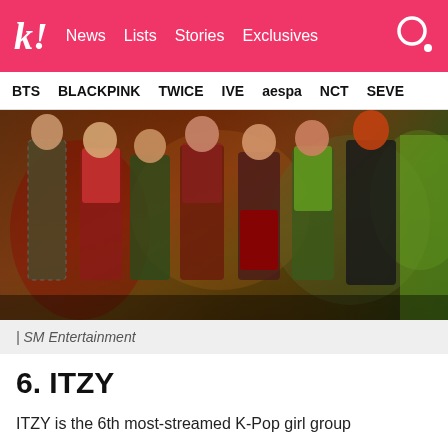k! News Lists Stories Exclusives
BTS BLACKPINK TWICE IVE aespa NCT SEVE
[Figure (photo): Group photo of K-Pop girl group members posing together in colorful outfits against a dark background]
| SM Entertainment
6. ITZY
ITZY is the 6th most-streamed K-Pop girl group